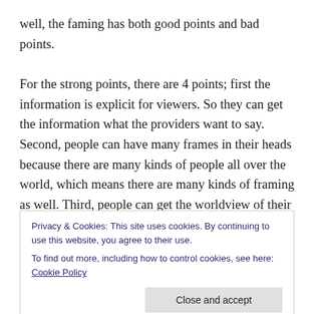well, the faming has both good points and bad points.
For the strong points, there are 4 points; first the information is explicit for viewers. So they can get the information what the providers want to say. Second, people can have many frames in their heads because there are many kinds of people all over the world, which means there are many kinds of framing as well. Third, people can get the worldview of their adversaries through successful reframing. Forth, all frames implicit or explicit apply to moral principles. I think this forth one easily can
Privacy & Cookies: This site uses cookies. By continuing to use this website, you agree to their use.
To find out more, including how to control cookies, see here: Cookie Policy
strategy. Third, political conservatives did not build political